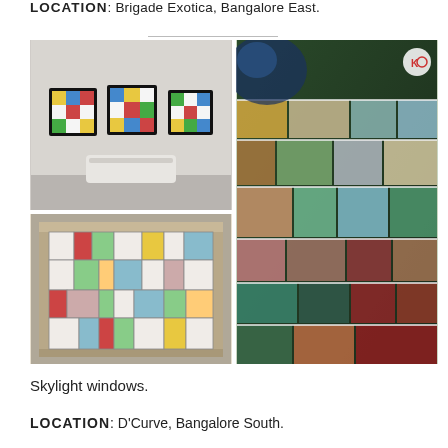LOCATION: Brigade Exotica, Bangalore East.
[Figure (photo): Three small framed stained glass artworks mounted on a white wall above a white air conditioning unit]
[Figure (photo): Close-up of colorful stained glass tiles in various colors including teal, green, red, purple, amber, and blue, with a KO watermark logo in top right corner]
[Figure (photo): A rectangular stained glass panel laid flat in a box, showing a Mondrian-style geometric design with white, green, blue, red, orange, yellow, and pink colored blocks]
Skylight windows.
LOCATION: D'Curve, Bangalore South.